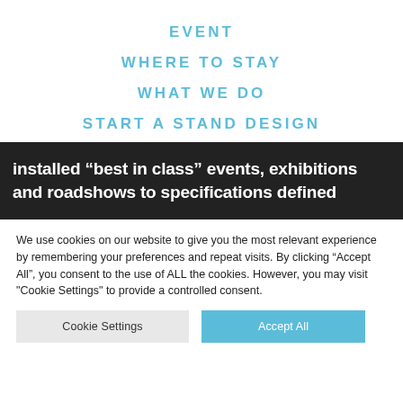EVENT
WHERE TO STAY
WHAT WE DO
START A STAND DESIGN
[Figure (photo): Dark background photo strip with white bold text reading 'installed best in class events, exhibitions and roadshows to specifications defined']
We use cookies on our website to give you the most relevant experience by remembering your preferences and repeat visits. By clicking “Accept All”, you consent to the use of ALL the cookies. However, you may visit "Cookie Settings" to provide a controlled consent.
Cookie Settings | Accept All